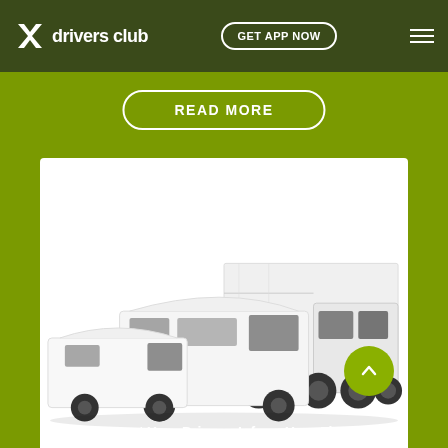equipment to the standard model, while also continuing to offer outstanding performance and style. Available in four colou... Caldera Red
drivers club | GET APP NOW
READ MORE
[Figure (photo): Three white commercial vehicles: a small van on the left, a medium transit van in the center, and a large box truck/lorry on the right, photographed on a white background]
Protect Your Drivers, Inform Your Fleet